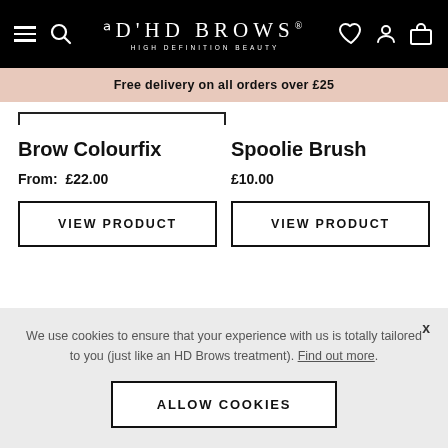HD BROWS HIGH DEFINITION BEAUTY
Free delivery on all orders over £25
Brow Colourfix
From: £22.00
Spoolie Brush
£10.00
VIEW PRODUCT
VIEW PRODUCT
We use cookies to ensure that your experience with us is totally tailored to you (just like an HD Brows treatment). Find out more.
ALLOW COOKIES